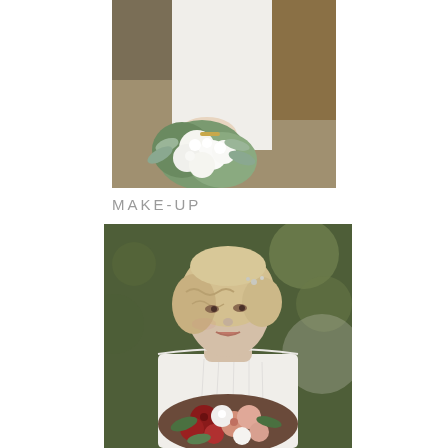[Figure (photo): Close-up of a bride in a white dress holding a lush white and green bouquet with eucalyptus, with a veil draped over her arm, outdoors.]
MAKE-UP
[Figure (photo): Portrait of a bride with short wavy blonde hair and a hair accessory, wearing a white long-sleeve dress, holding a colorful bouquet with red, pink, and white flowers, outdoors with blurred green foliage background.]